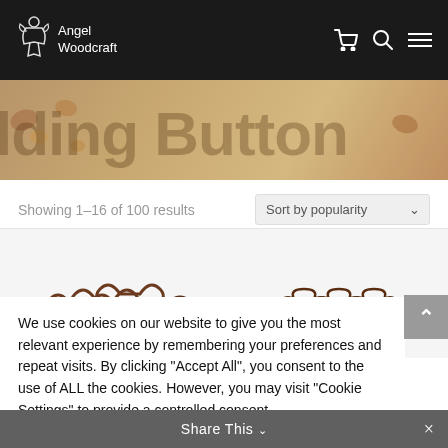Angel Woodcraft
[Figure (photo): Header banner with product hero image showing wooden beads and crafting elements in warm brown tones]
Showing 1–16 of 100 results
Sort by popularity
[Figure (photo): Two decorative bronze/copper colored chain connectors with heart and clover shaped links]
We use cookies on our website to give you the most relevant experience by remembering your preferences and repeat visits. By clicking "Accept All", you consent to the use of ALL the cookies. However, you may visit "Cookie Settings" to provide a controlled consent.
Cookie Settings
Reject All
Accept All
Share This